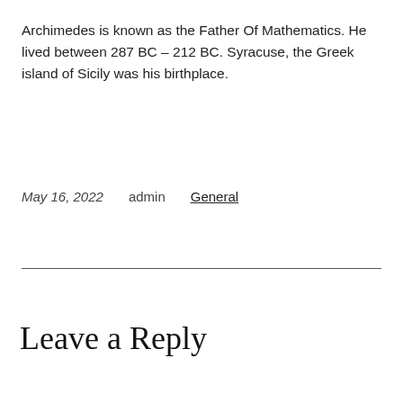Archimedes is known as the Father Of Mathematics. He lived between 287 BC – 212 BC. Syracuse, the Greek island of Sicily was his birthplace.
May 16, 2022    admin    General
Leave a Reply